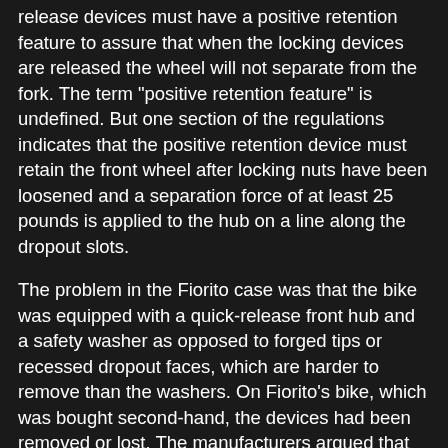release devices must have a positive retention feature to assure that when the locking devices are released the wheel will not separate from the fork. The term "positive retention feature" is undefined. But one section of the regulations indicates that the positive retention device must retain the front wheel after locking nuts have been loosened and a separation force of at least 25 pounds is applied to the hub on a line along the dropout slots.
The problem in the Fiorito case was that the bike was equipped with a quick-release front hub and a safety washer as opposed to forged tips or recessed dropout faces, which are harder to remove than the washers. On Fiorito's bike, which was bought second-hand, the devices had been removed or lost. The manufacturers argued that the CPSC does not require positive retention features on quick-release hubs. But Fiorito's counsel argued that the rule only states that they must be provided on nutted hubs, not on quick-release hubs.
Compliance Is No Defense. The most serious obstacle for the manufacturers was the judge's reliance upon a federal rule that provides, in part, that compliance with consumer